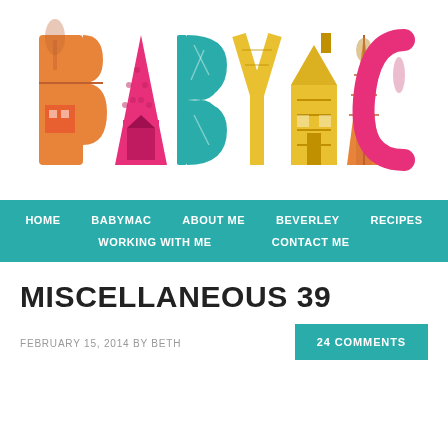[Figure (logo): BABYMAC colorful illustrated logo with each letter containing folk art illustrations of trees, houses, and nature in orange, pink, teal, and yellow colors]
HOME   BABYMAC   ABOUT ME   BEVERLEY   RECIPES   WORKING WITH ME   CONTACT ME
MISCELLANEOUS 39
FEBRUARY 15, 2014 BY BETH
24 COMMENTS